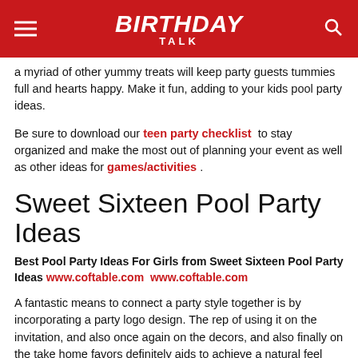BIRTHDAY TALK
a myriad of other yummy treats will keep party guests tummies full and hearts happy. Make it fun, adding to your kids pool party ideas.
Be sure to download our teen party checklist to stay organized and make the most out of planning your event as well as other ideas for games/activities .
Sweet Sixteen Pool Party Ideas
Best Pool Party Ideas For Girls from Sweet Sixteen Pool Party Ideas www.coftable.com  www.coftable.com
A fantastic means to connect a party style together is by incorporating a party logo design. The rep of using it on the invitation, and also once again on the decors, and also finally on the take home favors definitely aids to achieve a natural feel and look.